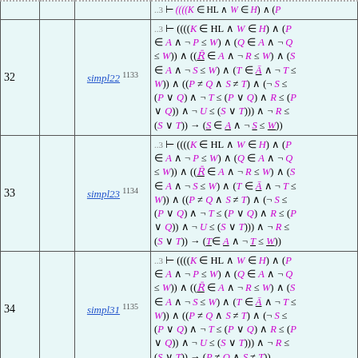| # |  | Rule | Formula |
| --- | --- | --- | --- |
| 32 |  | simpl22 1133 | ..3 ⊢ ((((K ∈ HL ∧ W ∈ H) ∧ (P ∈ A ∧ ¬ P ≤ W) ∧ (Q ∈ A ∧ ¬ Q ≤ W)) ∧ ((R̄ ∈ A ∧ ¬ R ≤ W) ∧ (S ∈ A ∧ ¬ S ≤ W) ∧ (T ∈ Ā ∧ ¬ T ≤ W)) ∧ ((P ≠ Q ∧ S ≠ T) ∧ (¬ S ≤ (P ∨ Q) ∧ ¬ T ≤ (P ∨ Q) ∧ R ≤ (P ∨ Q)) ∧ ¬ U ≤ (S ∨ T))) ∧ ¬ R ≤ (S ∨ T)) → (S ∈ A ∧ ¬ S ≤ W)) |
| 33 |  | simpl23 1134 | ..3 ⊢ ((((K ∈ HL ∧ W ∈ H) ∧ (P ∈ A ∧ ¬ P ≤ W) ∧ (Q ∈ A ∧ ¬ Q ≤ W)) ∧ ((R̄ ∈ A ∧ ¬ R ≤ W) ∧ (S ∈ A ∧ ¬ S ≤ W) ∧ (T ∈ Ā ∧ ¬ T ≤ W)) ∧ ((P ≠ Q ∧ S ≠ T) ∧ (¬ S ≤ (P ∨ Q) ∧ ¬ T ≤ (P ∨ Q) ∧ R ≤ (P ∨ Q)) ∧ ¬ U ≤ (S ∨ T))) ∧ ¬ R ≤ (S ∨ T)) → (T ∈ A ∧ ¬ T ≤ W)) |
| 34 |  | simpl31 1135 | ..3 ⊢ ((((K ∈ HL ∧ W ∈ H) ∧ (P ∈ A ∧ ¬ P ≤ W) ∧ (Q ∈ A ∧ ¬ Q ≤ W)) ∧ ((R̄ ∈ A ∧ ¬ R ≤ W) ∧ (S ∈ A ∧ ¬ S ≤ W) ∧ (T ∈ Ā ∧ ¬ T ≤ W)) ∧ ((P ≠ Q ∧ S ≠ T) ∧ (¬ S ≤ (P ∨ Q) ∧ ¬ T ≤ (P ∨ Q) ∧ R ≤ (P ∨ Q)) ∧ ¬ U ≤ (S ∨ T))) ∧ ¬ R ≤ (S ∨ T)) → (P ≠ Q ∧ S ≠ T)) |